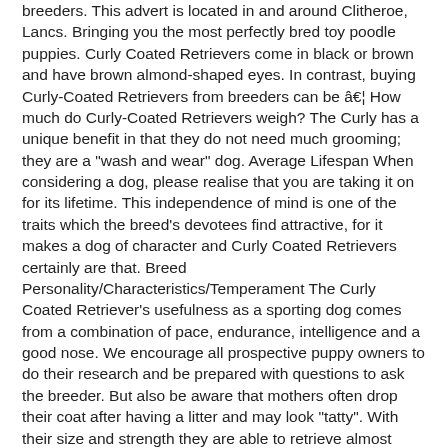breeders. This advert is located in and around Clitheroe, Lancs. Bringing you the most perfectly bred toy poodle puppies. Curly Coated Retrievers come in black or brown and have brown almond-shaped eyes. In contrast, buying Curly-Coated Retrievers from breeders can be â€¦ How much do Curly-Coated Retrievers weigh? The Curly has a unique benefit in that they do not need much grooming; they are a "wash and wear" dog. Average Lifespan When considering a dog, please realise that you are taking it on for its lifetime. This independence of mind is one of the traits which the breed's devotees find attractive, for it makes a dog of character and Curly Coated Retrievers certainly are that. Breed Personality/Characteristics/Temperament The Curly Coated Retriever's usefulness as a sporting dog comes from a combination of pace, endurance, intelligence and a good nose. We encourage all prospective puppy owners to do their research and be prepared with questions to ask the breeder. But also be aware that mothers often drop their coat after having a litter and may look "tatty". With their size and strength they are able to retrieve almost anything shot for them. We started with our first curly in 2014. The committee cannot guarantee either the breeder or the purchaser. Curly-Coated Retrievers have an average emotional level and are not the most sensitive dog breed. It is a slow maturing breed, responding well to training and makes a good guard with a very deep bark. The Curly